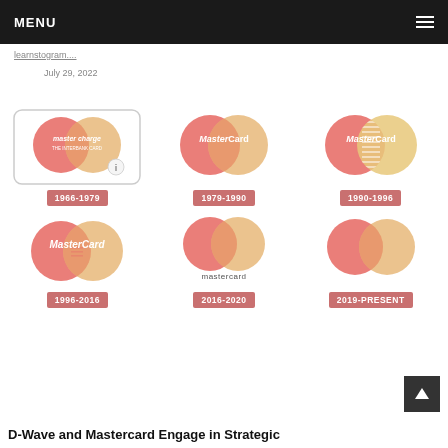MENU
learnstogram....
July 29, 2022
[Figure (illustration): Grid of 6 Mastercard logo evolutions: 1966-1979 (master charge THE INTERBANK CARD), 1979-1990 (MasterCard), 1990-1996 (MasterCard with striped overlap), 1996-2016 (MasterCard italic), 2016-2020 (mastercard lowercase no text circles), 2019-PRESENT (circles only no text)]
D-Wave and Mastercard Engage in Strategic